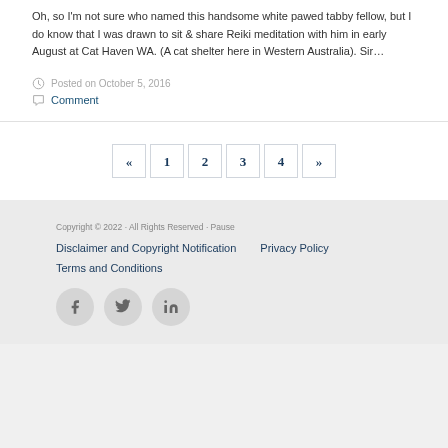Oh, so I'm not sure who named this handsome white pawed tabby fellow, but I do know that I was drawn to sit & share Reiki meditation with him in early August at Cat Haven WA. (A cat shelter here in Western Australia). Sir…
Posted on October 5, 2016
Comment
« 1 2 3 4 »
Copyright © 2022 · All Rights Reserved · Pause
Disclaimer and Copyright Notification   Privacy Policy
Terms and Conditions